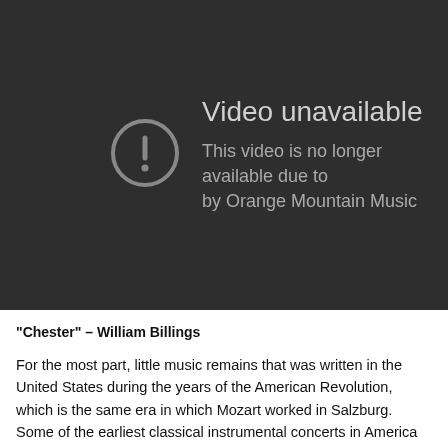[Figure (screenshot): Video unavailable error screen on dark background. A circle with exclamation mark icon on the left. Text reads: 'Video unavailable' and 'This video is no longer available due to a claim by Orange Mountain Music']
"Chester" – William Billings
For the most part, little music remains that was written in the United States during the years of the American Revolution, which is the same era in which Mozart worked in Salzburg. Some of the earliest classical instrumental concerts in America date back to 1730 in Boston, which